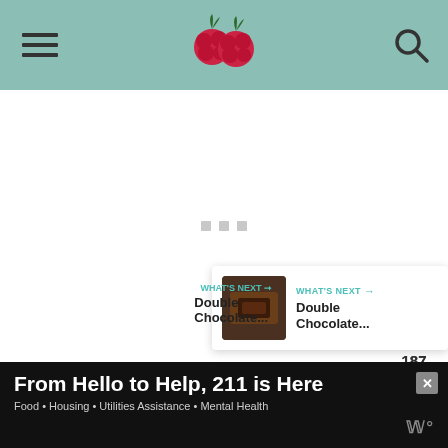Navigation bar with hamburger menu, logo, and search icon
[Figure (screenshot): Main content area showing a loading state with three small gray squares as loading indicators in the center]
[Figure (infographic): Floating heart/like button (teal circle with heart icon), count of 187, and share button (white circle with share icon)]
187
[Figure (screenshot): What's Next card showing a thumbnail of a chocolate dessert with label WHAT'S NEXT and title Double Chocolate...]
WHAT'S NEXT ➞
Double Chocolate...
From Hello to Help, 211 is Here • Food • Housing • Utilities Assistance • Mental Health